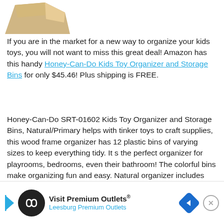[Figure (illustration): Partial view of a wooden toy organizer shelf in natural/beige color against white background, cropped at top of page]
If you are in the market for a new way to organize your kids toys, you will not want to miss this great deal! Amazon has this handy Honey-Can-Do Kids Toy Organizer and Storage Bins for only $45.46! Plus shipping is FREE.
Honey-Can-Do SRT-01602 Kids Toy Organizer and Storage Bins, Natural/Primary helps with tinker toys to craft supplies, this wood frame organizer has 12 plastic bins of varying sizes to keep everything tidy. It s the perfect organizer for playrooms, bedrooms, even their bathroom! The colorful bins make organizing fun and easy. Natural organizer includes primary bins. The casual combination shelf/storage bins are made with four fixed shelves and 12 bins. The frame features storage compartments, open back, s[...]e. Some a[...]children[...]
[Figure (advertisement): Ad banner for Visit Premium Outlets - Leesburg Premium Outlets with logo, navigation arrow icon, and close button]